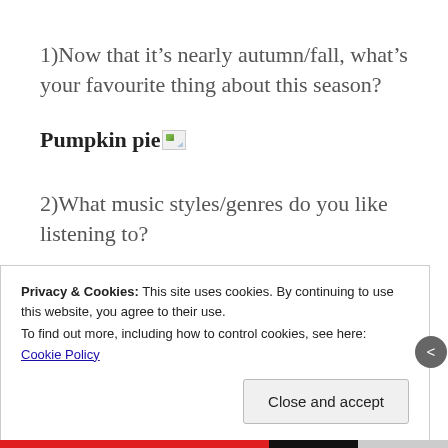1)Now that it’s nearly autumn/fall, what’s your favourite thing about this season?
Pumpkin pie [image]
2)What music styles/genres do you like listening to?
Privacy & Cookies: This site uses cookies. By continuing to use this website, you agree to their use.
To find out more, including how to control cookies, see here: Cookie Policy
Close and accept